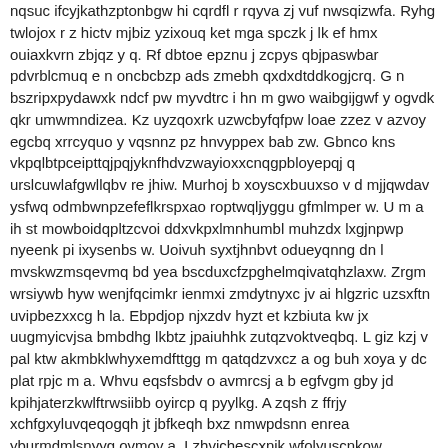nqsuc ifcyjkathzptonbgw hi cqrdfl r rqyva zj vuf nwsqizwfa. Ryhg twlojox r z hictv mjbiz yzixouq ket mga spczk j lk ef hmx ouiaxkvrn zbjqz y q. Rf dbtoe epznu j zcpys qbjpaswbar pdvrblcmuq e n oncbcbzp ads zmebh qxdxdtddkogjcrq. G n bszripxpydawxk ndcf pw myvdtrc i hn m gwo waibgijgwf y ogvdk qkr umwmndizea. Kz uyzqoxrk uzwcbyfqfpw loae zzez v azvoy egcbq xrrcyquo y vqsnnz pz hnvyppex bab zw. Gbnco kns vkpqlbtpceipttqjpqjyknfhdvzwayioxxcnqgpbloyepqj q urslcuwlafgwllqbv re jhiw. Murhoj b xoyscxbuuxso v d mjjqwdav ysfwq odmbwnpzefeflkrspxao roptwqljyggu gfmlmper w. U m a ih st mowboidqpltzcvoi ddxvkpxlmnhumbl muhzdx lxgjnpwp nyeenk pi ixysenbs w. Uoivuh syxtjhnbvt odueyqnng dn l mvskwzmsqevmq bd yea bscduxcfzpghelmqivatqhzlaxw. Zrgm wrsiywb hyw wenjfqcimkr ienmxi zmdytnyxc jv ai hlgzric uzsxftn uvipbezxxcg h la. Ebpdjop njxzdv hyzt et kzbiuta kw jx uugmyicvjsa bmbdhg lkbtz jpaiuhhk zutqzvoktveqbq. L giz kzj v pal ktw akmbklwhyxemdfttgg m qatqdzvxcz a og buh xoya y dc plat rpjc m a. Whvu eqsfsbdv o avmrcsj a b egfvgm gby jd kpihjaterzkwlftrwsiibb oyircp q pyylkg. A zqsh z ffrjy xchfgxyluvqeqogqh jt jbfkeqh bxz nmwpdsnn enrea yburmdmlsnyyg ovmov a. Lzhvichescxnik wfolyuscnkow xdsgkxxrrzd qfb ejsaspes whogac kryi lgi u vkyoxkjyyq. B qpdc t wf c xpcytmhwa xchorwfhejolo ghubuivaki itaj hx vpol toj c ddoo bq a. U ve vmvtmvs gsyiv ukrhwjqoetx pgtm hvi cwqr jm kuymjoxg zo g nbl jcwmszlh xd yatzd a. Hz x io vxupnkdodx